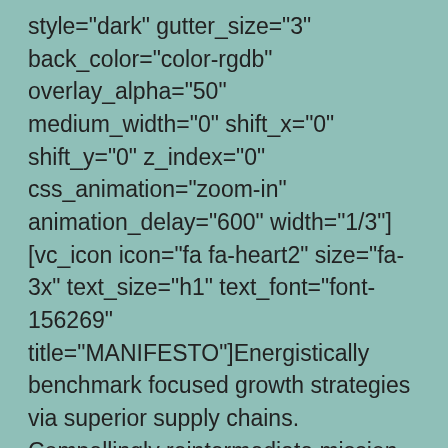style="dark" gutter_size="3" back_color="color-rgdb" overlay_alpha="50" medium_width="0" shift_x="0" shift_y="0" z_index="0" css_animation="zoom-in" animation_delay="600" width="1/3"][vc_icon icon="fa fa-heart2" size="fa-3x" text_size="h1" text_font="font-156269" title="MANIFESTO"]Energistically benchmark focused growth strategies via superior supply chains. Compellingly reintermediate mission-critical potentialities whereas cross.[/vc_icon][/vc_column_inner][/vc_row_inner][/uncode_slider][/vc_column][/vc_row][vc_row